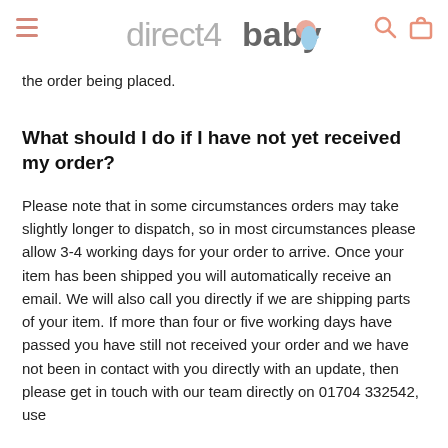direct4baby
the order being placed.
What should I do if I have not yet received my order?
Please note that in some circumstances orders may take slightly longer to dispatch, so in most circumstances please allow 3-4 working days for your order to arrive. Once your item has been shipped you will automatically receive an email. We will also call you directly if we are shipping parts of your item. If more than four or five working days have passed you have still not received your order and we have not been in contact with you directly with an update, then please get in touch with our team directly on 01704 332542, use